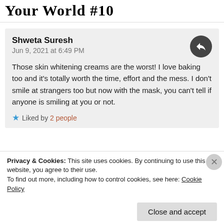Your World #10
Shweta Suresh
Jun 9, 2021 at 6:49 PM

Those skin whitening creams are the worst! I love baking too and it's totally worth the time, effort and the mess. I don't smile at strangers too but now with the mask, you can't tell if anyone is smiling at you or not.

Liked by 2 people
Privacy & Cookies: This site uses cookies. By continuing to use this website, you agree to their use.
To find out more, including how to control cookies, see here: Cookie Policy
Close and accept